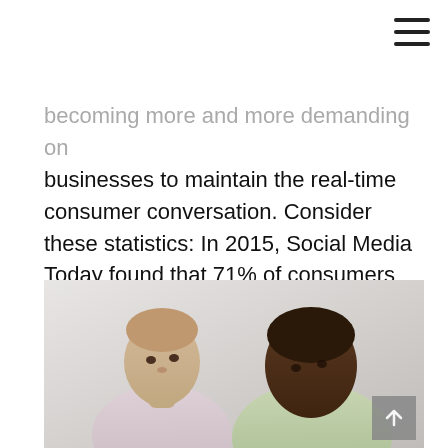becoming more and more demanding on businesses to maintain the real-time consumer conversation. Consider these statistics: In 2015, Social Media Today found that 71% of consumers are likely to purchase an item based on social media referrals. (Source) Mintel reported in 2015 that 69% of...
[Figure (photo): Two men in conversation: a white man with short light hair wearing a striped shirt on the left, and a Black man in a light green shirt on the right, facing each other in what appears to be a meeting or discussion setting.]